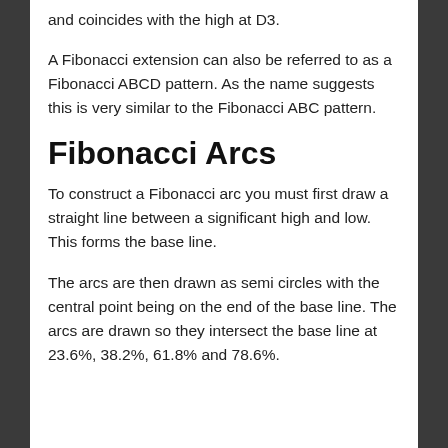and coincides with the high at D3.
A Fibonacci extension can also be referred to as a Fibonacci ABCD pattern. As the name suggests this is very similar to the Fibonacci ABC pattern.
Fibonacci Arcs
To construct a Fibonacci arc you must first draw a straight line between a significant high and low. This forms the base line.
The arcs are then drawn as semi circles with the central point being on the end of the base line. The arcs are drawn so they intersect the base line at 23.6%, 38.2%, 61.8% and 78.6%.